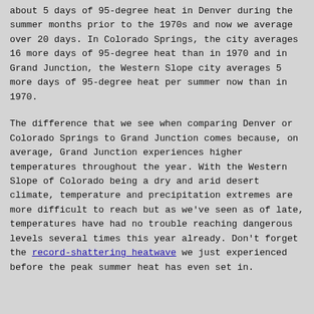about 5 days of 95-degree heat in Denver during the summer months prior to the 1970s and now we average over 20 days. In Colorado Springs, the city averages 16 more days of 95-degree heat than in 1970 and in Grand Junction, the Western Slope city averages 5 more days of 95-degree heat per summer now than in 1970.
The difference that we see when comparing Denver or Colorado Springs to Grand Junction comes because, on average, Grand Junction experiences higher temperatures throughout the year. With the Western Slope of Colorado being a dry and arid desert climate, temperature and precipitation extremes are more difficult to reach but as we've seen as of late, temperatures have had no trouble reaching dangerous levels several times this year already. Don't forget the record-shattering heatwave we just experienced before the peak summer heat has even set in.